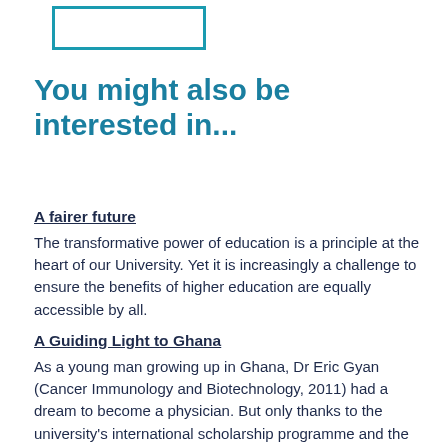[Figure (other): Teal/cyan rectangular outline box in upper left area]
You might also be interested in...
A fairer future
The transformative power of education is a principle at the heart of our University. Yet it is increasingly a challenge to ensure the benefits of higher education are equally accessible by all.
A Guiding Light to Ghana
As a young man growing up in Ghana, Dr Eric Gyan (Cancer Immunology and Biotechnology, 2011) had a dream to become a physician. But only thanks to the university's international scholarship programme and the generosity of alumni donors was this dream able to become a reality.